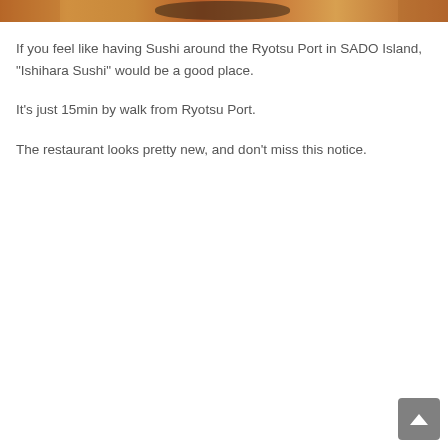[Figure (photo): Top portion of a photo showing a red bowl/plate on a wooden surface, partially cropped]
If you feel like having Sushi around the Ryotsu Port in SADO Island, “Ishihara Sushi” would be a good place.
It’s just 15min by walk from Ryotsu Port.
The restaurant looks pretty new, and don’t miss this notice.